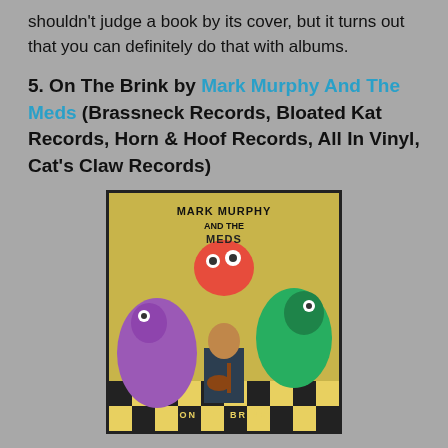shouldn't judge a book by its cover, but it turns out that you can definitely do that with albums.
5. On The Brink by Mark Murphy And The Meds (Brassneck Records, Bloated Kat Records, Horn & Hoof Records, All In Vinyl, Cat's Claw Records)
[Figure (photo): Album cover for 'On The Brink' by Mark Murphy And The Meds. Colorful cartoon-style illustration of monsters and a musician on a yellow background with a checkerboard pattern at the bottom. Text reads 'Mark Murphy And The Meds: On The Brink'.]
Riffs aplenty from Mark Murphy And The Meds – fast, fun pop punk riffs with the added extra kick of rock 'n' roll licks. Think Teen Idols or Green Day, with a bit of The Wildhearts thrown in for good measure. This album is wildly catchy, and